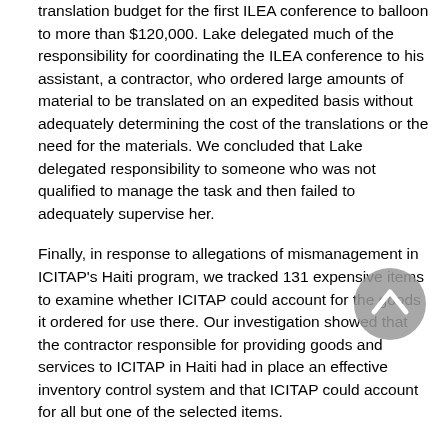translation budget for the first ILEA conference to balloon to more than $120,000. Lake delegated much of the responsibility for coordinating the ILEA conference to his assistant, a contractor, who ordered large amounts of material to be translated on an expedited basis without adequately determining the cost of the translations or the need for the materials. We concluded that Lake delegated responsibility to someone who was not qualified to manage the task and then failed to adequately supervise her.
Finally, in response to allegations of mismanagement in ICITAP's Haiti program, we tracked 131 expensive items to examine whether ICITAP could account for the goods it ordered for use there. Our investigation showed that the contractor responsible for providing goods and services to ICITAP in Haiti had in place an effective inventory control system and that ICITAP could account for all but one of the selected items.
VIII. Miscellaneous Allegations
We investigated allegations raised by four employees that ICITAP, OPDAT, or Criminal Division managers had retaliated against them either because they complained about actions taken by managers or because they